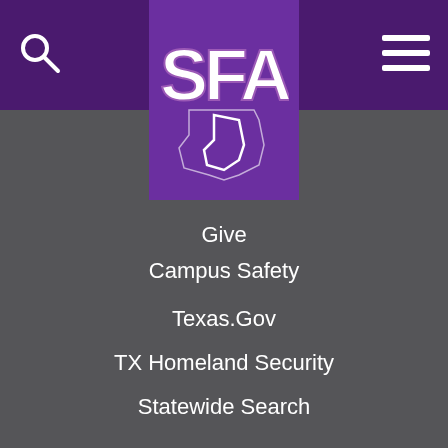[Figure (logo): SFA (Stephen F. Austin State University) logo with purple background showing stylized SFA letters with Texas state outline]
Give
Campus Safety
Texas.Gov
TX Homeland Security
Statewide Search
Report Sexual Assault and Harassment
Mental Health Resources
Report Fraud
Site Policies